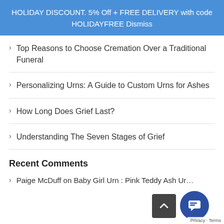HOLIDAY DISCOUNT. 5% Off + FREE DELIVERY with code HOLIDAYFREE Dismiss
Top Reasons to Choose Cremation Over a Traditional Funeral
Personalizing Urns: A Guide to Custom Urns for Ashes
How Long Does Grief Last?
Understanding The Seven Stages of Grief
Recent Comments
Paige McDuff on Baby Girl Urn : Pink Teddy Ash Ur…